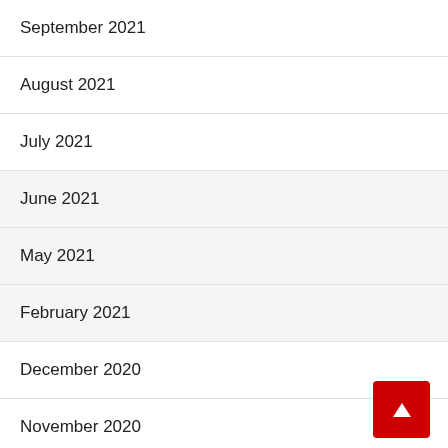September 2021
August 2021
July 2021
June 2021
May 2021
February 2021
December 2020
November 2020